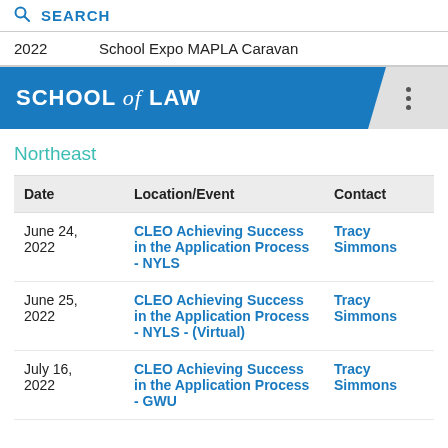SEARCH
| Date | Location/Event | Contact |
| --- | --- | --- |
|  | School Expo MAPLA Caravan |  |
| June 24, 2022 | CLEO Achieving Success in the Application Process - NYLS | Tracy Simmons |
| June 25, 2022 | CLEO Achieving Success in the Application Process - NYLS - (Virtual) | Tracy Simmons |
| July 16, 2022 | CLEO Achieving Success in the Application Process - GWU | Tracy Simmons |
SCHOOL of LAW
Northeast